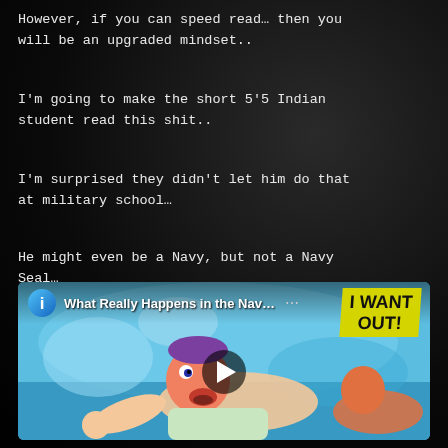However, if you can speed read… then you will be an upgraded mindset..
I'm going to make the short 5'5 Indian student read this shit..
I'm surprised they didn't let him do that at military school…
He might even be a Navy, but not a Navy Seal…
[Figure (screenshot): YouTube video thumbnail for 'What Really Happens in the Nav...' with an animated cartoon of a person swimming, overlaid with yellow 'I WANT OUT!' text graphic and a play button.]